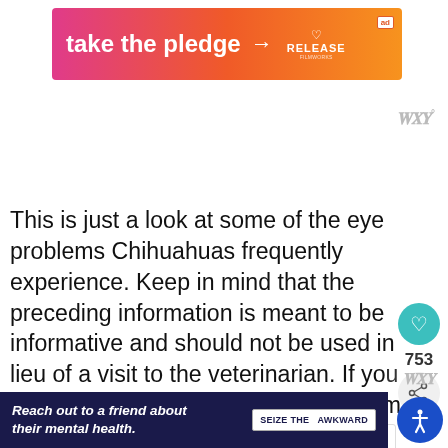[Figure (other): Pink-to-orange gradient advertisement banner reading 'take the pledge' with arrow pointing to 'RELEASE' logo and ad badge]
This is just a look at some of the eye problems Chihuahuas frequently experience. Keep in mind that the preceding information is meant to be informative and should not be used in lieu of a visit to the veterinarian. If you having eye problems, please get them ch
[Figure (other): Dark navy bottom advertisement banner: 'Reach out to a friend about their mental health.' with 'SEIZE THE AWKWARD' tag]
[Figure (other): Blue circular accessibility icon button in bottom right corner]